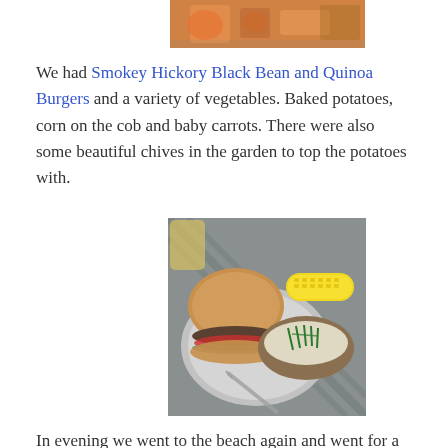[Figure (photo): Partial view of a table with food items including vegetables (carrots visible), cropped at the top of the page]
We had Smokey Hickory Black Bean and Quinoa Burgers and a variety of vegetables. Baked potatoes, corn on the cob and baby carrots. There were also some beautiful chives in the garden to top the potatoes with.
[Figure (photo): A plate on a slatted outdoor table with a whole grain burger bun filled with a black bean patty, lettuce and tomato slices, a corn on the cob, and a baked potato topped with chives and cream. A fork is visible on the plate.]
In evening we went to the beach again and went for a post